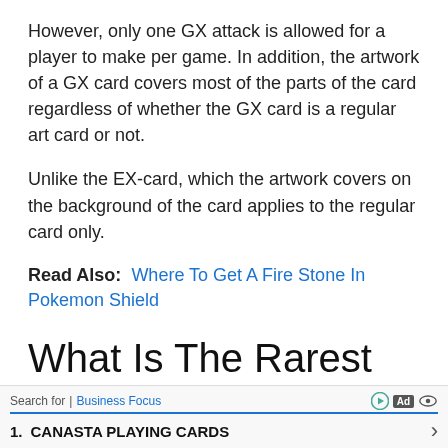However, only one GX attack is allowed for a player to make per game. In addition, the artwork of a GX card covers most of the parts of the card regardless of whether the GX card is a regular art card or not.
Unlike the EX-card, which the artwork covers on the background of the card applies to the regular card only.
Read Also:  Where To Get A Fire Stone In Pokemon Shield
What Is The Rarest Pokemon Card
Pikachu Illustrator Promo CardA super rare Pokémon card has sold at an auction in New York for a whopping $105,000
Search for | Business Focus   Ad   1. CANASTA PLAYING CARDS